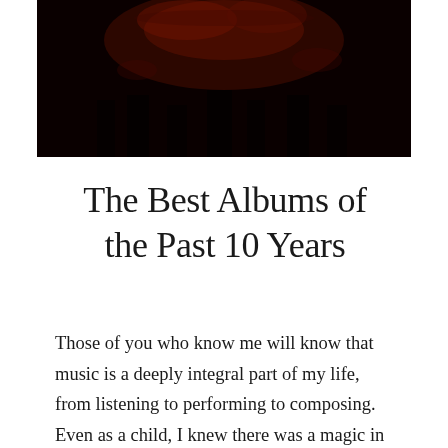[Figure (photo): Dark concert or performance photo with red/dark tones, showing figures on a stage with dramatic lighting against a black background.]
The Best Albums of the Past 10 Years
Those of you who know me will know that music is a deeply integral part of my life, from listening to performing to composing. Even as a child, I knew there was a magic in music, something that